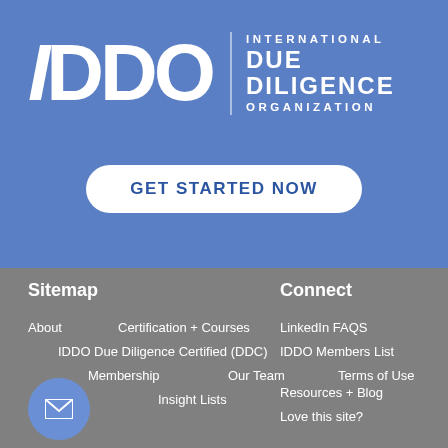[Figure (logo): IDDO International Due Diligence Organization logo in white on blue background]
GET STARTED NOW
Sitemap
Connect
About
Certification + Courses
LinkedIn FAQS
IDDO Due Diligence Certified (DDC)
IDDO Members List
Membership
Our Team
Terms of Use
Resources + Blog
Insight Lists
Love this site?